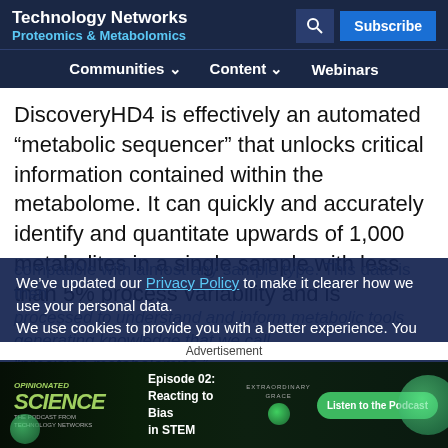Technology Networks
Proteomics & Metabolomics
Communities  Content  Webinars
DiscoveryHD4 is effectively an automated “metabolic sequencer” that unlocks critical information contained within the metabolome. It can quickly and accurately identify and quantitate upwards of 1,000 metabolites in a single sample with less than 5% process variability and is
We’ve updated our Privacy Policy to make it clearer how we use your personal data.
We use cookies to provide you with a better experience. You can read our Cookie Policy here.
I Understand
Advertisement
[Figure (screenshot): Advertisement banner for Opinionated Science podcast from Technology Networks, Episode 02: Reacting to Bias in STEM, with Extraordinary Grace branding and Listen to the Podcast button]